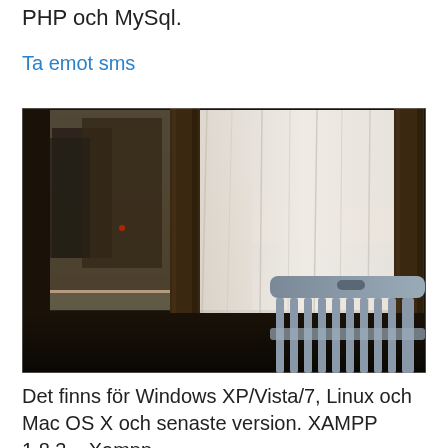PHP och MySql.
Ta emot sms
[Figure (photo): Photograph of a porch or veranda scene: two dark wooden columns frame sheer white curtains blowing in wind, with a wooden slatted chair/bench visible in the foreground right, and trees and a sunset-lit sky visible in the reflection or through the glass beyond.]
Det finns för Windows XP/Vista/7, Linux och Mac OS X och senaste version. XAMPP 1.8.3 – Xampp